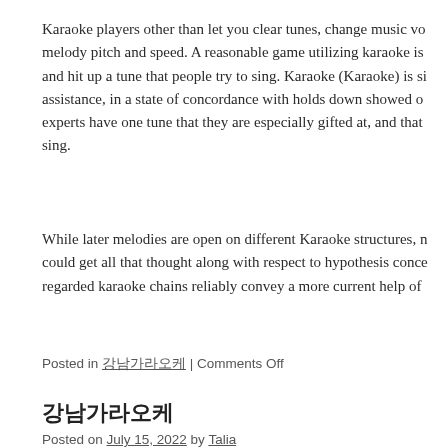Karaoke players other than let you clear tunes, change music vo... melody pitch and speed. A reasonable game utilizing karaoke is ... and hit up a tune that people try to sing. Karaoke (Karaoke) is si... assistance, in a state of concordance with holds down showed o... experts have one tune that they are especially gifted at, and that ... sing.
While later melodies are open on different Karaoke structures, n... could get all that thought along with respect to hypothesis conce... regarded karaoke chains reliably convey a more current help of ...
Posted in 강남가라오케 | Comments Off
강남가라오케
Posted on July 15, 2022 by Talia
[Figure (photo): Dark warm-toned photo of a bar or karaoke venue interior with EXIT sign and neon/warm lighting]